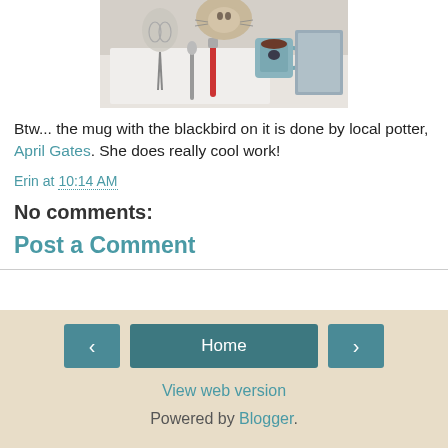[Figure (photo): Kitchen counter with a whisk, spoons, a red-handled utensil, a blue/white ceramic mug with hot drink, and other kitchen tools on a white surface]
Btw... the mug with the blackbird on it is done by local potter, April Gates. She does really cool work!
Erin at 10:14 AM
No comments:
Post a Comment
< Home > View web version Powered by Blogger.